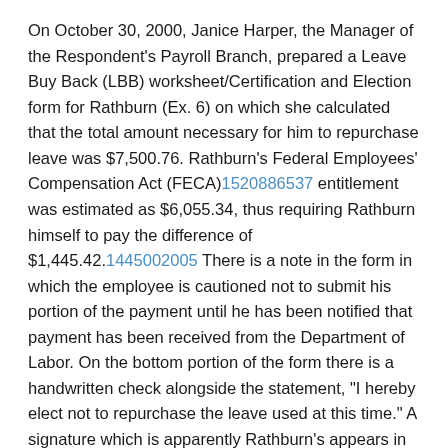On October 30, 2000, Janice Harper, the Manager of the Respondent's Payroll Branch, prepared a Leave Buy Back (LBB) worksheet/Certification and Election form for Rathburn (Ex. 6) on which she calculated that the total amount necessary for him to repurchase leave was $7,500.76. Rathburn's Federal Employees' Compensation Act (FECA)1520886537 entitlement was estimated as $6,055.34, thus requiring Rathburn himself to pay the difference of $1,445.42.1445002005 There is a note in the form in which the employee is cautioned not to submit his portion of the payment until he has been notified that payment has been received from the Department of Labor. On the bottom portion of the form there is a handwritten check alongside the statement, "I hereby elect not to repurchase the leave used at this time." A signature which is apparently Rathburn's appears in the blank labeled "Signature of the Claimant."
There was a next document (Ex. 7) and it states that the...